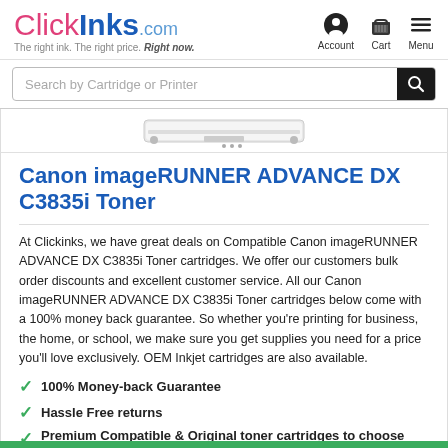ClickInks.com — The right ink. The right price. Right now.
[Figure (screenshot): Search bar with text 'Search by Cartridge or Printer' and a magnifying glass search button]
[Figure (photo): Partial product image of Canon imageRUNNER ADVANCE DX C3835i printer]
Canon imageRUNNER ADVANCE DX C3835i Toner
At Clickinks, we have great deals on Compatible Canon imageRUNNER ADVANCE DX C3835i Toner cartridges. We offer our customers bulk order discounts and excellent customer service. All our Canon imageRUNNER ADVANCE DX C3835i Toner cartridges below come with a 100% money back guarantee. So whether you're printing for business, the home, or school, we make sure you get supplies you need for a price you'll love exclusively. OEM Inkjet cartridges are also available.
100% Money-back Guarantee
Hassle Free returns
Premium Compatible & Original toner cartridges to choose from